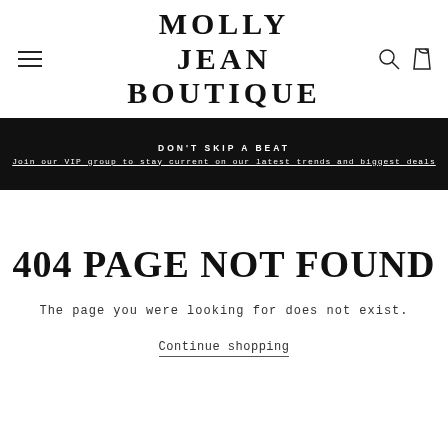MOLLY JEAN BOUTIQUE
DON'T SKIP A BEAT
Join our VIP group to stay current on our latest trends and biggest deals
404 PAGE NOT FOUND
The page you were looking for does not exist.
Continue shopping